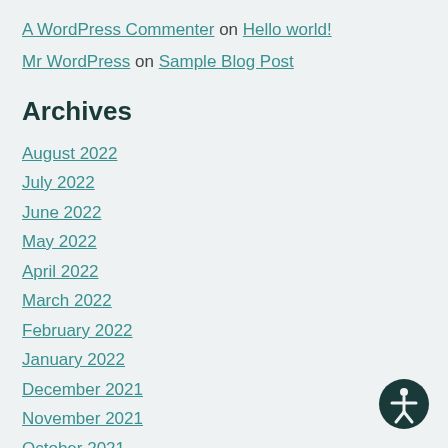A WordPress Commenter on Hello world!
Mr WordPress on Sample Blog Post
Archives
August 2022
July 2022
June 2022
May 2022
April 2022
March 2022
February 2022
January 2022
December 2021
November 2021
October 2021